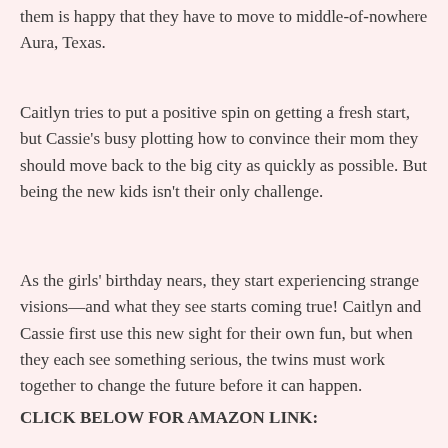them is happy that they have to move to middle-of-nowhere Aura, Texas.
Caitlyn tries to put a positive spin on getting a fresh start, but Cassie's busy plotting how to convince their mom they should move back to the big city as quickly as possible. But being the new kids isn't their only challenge.
As the girls' birthday nears, they start experiencing strange visions—and what they see starts coming true! Caitlyn and Cassie first use this new sight for their own fun, but when they each see something serious, the twins must work together to change the future before it can happen.
CLICK BELOW FOR AMAZON LINK: